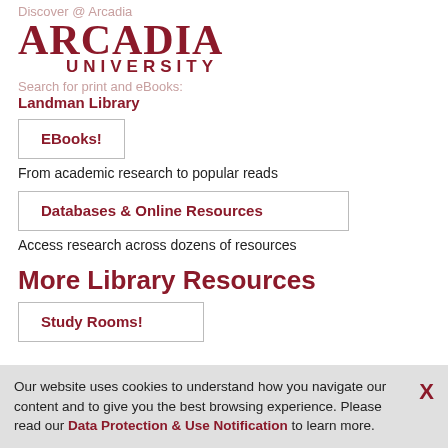Discover @ Arcadia
[Figure (logo): Arcadia University logo with serif ARCADIA text and UNIVERSITY in smaller caps]
Search for print and eBooks:
Landman Library
EBooks!
From academic research to popular reads
Databases & Online Resources
Access research across dozens of resources
More Library Resources
Study Rooms!
Our website uses cookies to understand how you navigate our content and to give you the best browsing experience. Please read our Data Protection & Use Notification to learn more.